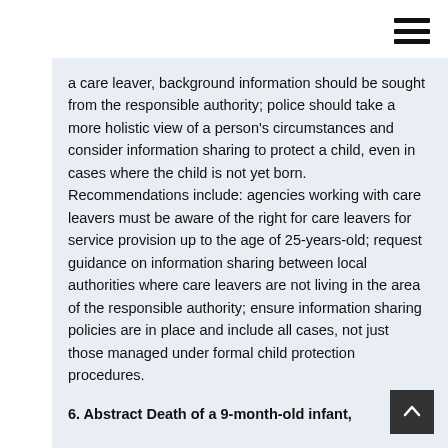a care leaver, background information should be sought from the responsible authority; police should take a more holistic view of a person's circumstances and consider information sharing to protect a child, even in cases where the child is not yet born. Recommendations include: agencies working with care leavers must be aware of the right for care leavers for service provision up to the age of 25-years-old; request guidance on information sharing between local authorities where care leavers are not living in the area of the responsible authority; ensure information sharing policies are in place and include all cases, not just those managed under formal child protection procedures.
6. Abstract Death of a 9-month-old infant,